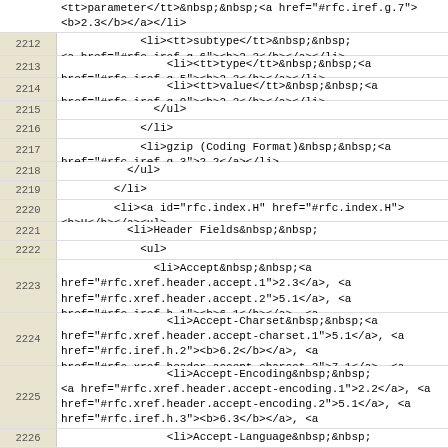<tt>parameter</tt>&nbsp;&nbsp;<a href="#rfc.iref.g.7"><b>2.3</b></a></li>
2212  <li><tt>subtype</tt>&nbsp;&nbsp;<a href="#rfc.iref.g.6"><b>2.3</b></a></li>
2213  <li><tt>type</tt>&nbsp;&nbsp;<a href="#rfc.iref.g.5"><b>2.3</b></a></li>
2214  <li><tt>value</tt>&nbsp;&nbsp;<a href="#rfc.iref.g.9"><b>2.3</b></a></li>
2215  </ul>
2216  </li>
2217  <li>gzip (Coding Format)&nbsp;&nbsp;<a href="#rfc.iref.g.3">2.2</a></li>
2218  </ul>
2219  </li>
2220  <li><a id="rfc.index.H" href="#rfc.index.H"><b>H</b></a><ul>
2221  <li>Header Fields&nbsp;&nbsp;
2222  <ul>
2223  <li>Accept&nbsp;&nbsp;<a href="#rfc.xref.header.accept.1">2.3</a>, <a href="#rfc.xref.header.accept.2">5.1</a>, <a href="#rfc.iref.h.1"><b>6.1</b></a>, <a href="#rfc.xref.header.accept.3">7.1</a></li>
2224  <li>Accept-Charset&nbsp;&nbsp;<a href="#rfc.xref.header.accept-charset.1">5.1</a>, <a href="#rfc.iref.h.2"><b>6.2</b></a>, <a href="#rfc.xref.header.accept-charset.2">7.1</a>, <a href="#rfc.xref.header.accept-charset.3">C</a></li>
2225  <li>Accept-Encoding&nbsp;&nbsp;<a href="#rfc.xref.header.accept-encoding.1">2.2</a>, <a href="#rfc.xref.header.accept-encoding.2">5.1</a>, <a href="#rfc.iref.h.3"><b>6.3</b></a>, <a href="#rfc.xref.header.accept-encoding.3">7.1</a>, <a href="#rfc.xref.header.accept-encoding.4">7.2</a></li>
2226  <li>Accept-Language&nbsp;&nbsp;